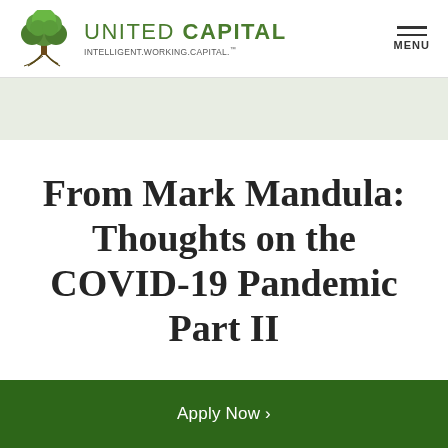UNITED CAPITAL INTELLIGENT.WORKING.CAPITAL.™
From Mark Mandula: Thoughts on the COVID-19 Pandemic Part II
Apply Now >